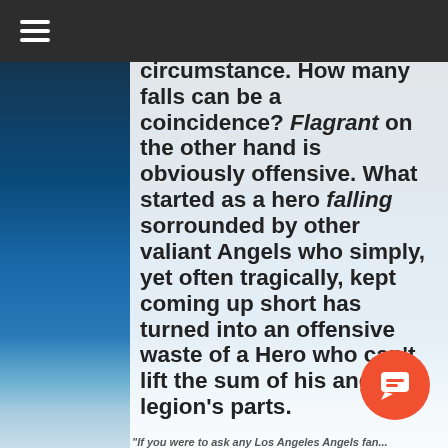≡
control. It's not intentional, a momentary victim of circumstance. How many falls can be a coincidence? Flagrant on the other hand is obviously offensive. What started as a hero falling sorrounded by other valiant Angels who simply, yet often tragically, kept coming up short has turned into an offensive waste of a Hero who can't lift the sum of his angelic legion's parts.
"If you were to ask any Los Angeles Angels fan...